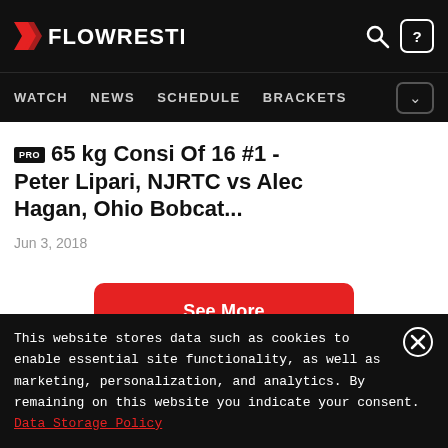FLOWRESTLING
WATCH  NEWS  SCHEDULE  BRACKETS
PRO 65 kg Consi Of 16 #1 - Peter Lipari, NJRTC vs Alec Hagan, Ohio Bobcat...
Jun 3, 2018
See More
This website stores data such as cookies to enable essential site functionality, as well as marketing, personalization, and analytics. By remaining on this website you indicate your consent. Data Storage Policy